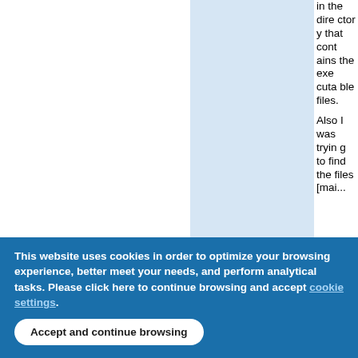in the directory that contains the executable files. Also I was trying to find the files [mai...
This website uses cookies in order to optimize your browsing experience, better meet your needs, and perform analytical tasks. Please click here to continue browsing and accept [cookie settings].
Accept and continue browsing